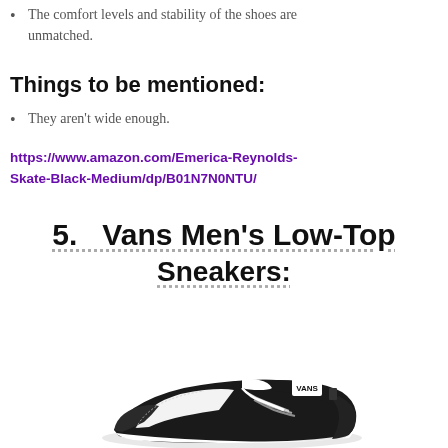The comfort levels and stability of the shoes are unmatched.
Things to be mentioned:
They aren't wide enough.
https://www.amazon.com/Emerica-Reynolds-Skate-Black-Medium/dp/B01N7N0NTU/
5.   Vans Men's Low-Top Sneakers:
[Figure (photo): Black and white Vans low-top sneaker shown from the side on a white background]